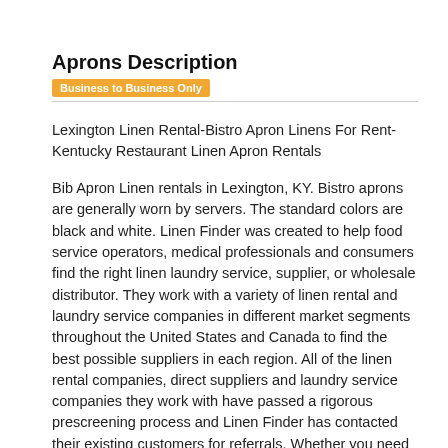Aprons Description
Business to Business Only
Lexington Linen Rental-Bistro Apron Linens For Rent-Kentucky Restaurant Linen Apron Rentals
Bib Apron Linen rentals in Lexington, KY. Bistro aprons are generally worn by servers. The standard colors are black and white. Linen Finder was created to help food service operators, medical professionals and consumers find the right linen laundry service, supplier, or wholesale distributor. They work with a variety of linen rental and laundry service companies in different market segments throughout the United States and Canada to find the best possible suppliers in each region. All of the linen rental companies, direct suppliers and laundry service companies they work with have passed a rigorous prescreening process and Linen Finder has contacted their existing customers for referrals. Whether you need a daily, weekly, one time rental or purchase you have come to the right place. Rent linens throughout all of Kentucky including but not limited to Lexington, Covington Erlanger, Owensboro, Alexandria, Louisville, Newport and Corbin